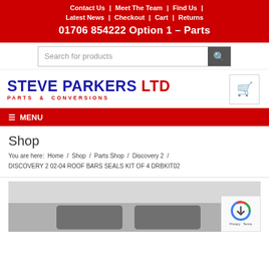Contact Us | Meet The Team | Find Us | Latest News | Checkout | Cart | Returns
01706 854222 Option 1 – Parts
Search for products
[Figure (logo): Steve Parkers Ltd Parts & Conversions logo in blue and red text]
Shop
You are here: Home / Shop / Parts Shop / Discovery 2 / DISCOVERY 2 02-04 ROOF BARS SEALS KIT OF 4 DRBKIT02
[Figure (photo): Product photo area showing roof bar seals, partially visible]